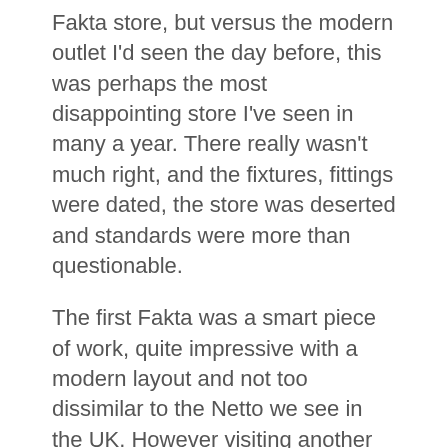Fakta store, but versus the modern outlet I'd seen the day before, this was perhaps the most disappointing store I've seen in many a year. There really wasn't much right, and the fixtures, fittings were dated, the store was deserted and standards were more than questionable.
The first Fakta was a smart piece of work, quite impressive with a modern layout and not too dissimilar to the Netto we see in the UK. However visiting another store is always good, to build a perception of what the reality is – concepts / new stores are always strong….